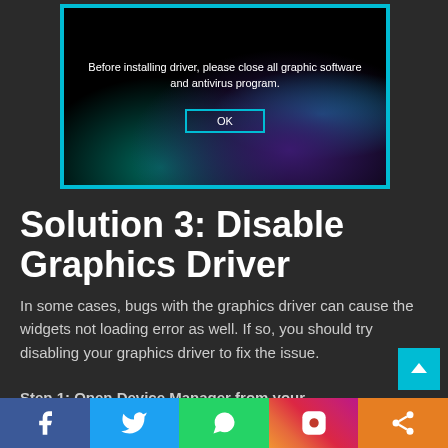[Figure (screenshot): Screenshot showing a driver installer dialog box on a dark abstract background. The dialog reads: 'Before installing driver, please close all graphic software and antivirus program.' with an OK button bordered in cyan.]
Solution 3: Disable Graphics Driver
In some cases, bugs with the graphics driver can cause the widgets not loading error as well. If so, you should try disabling your graphics driver to fix the issue.
Step 1: Open Device Manager from your
[Figure (infographic): Social sharing bar at the bottom with five buttons: Facebook (blue), Twitter (light blue), WhatsApp (green), Instagram (gradient), Share (orange).]